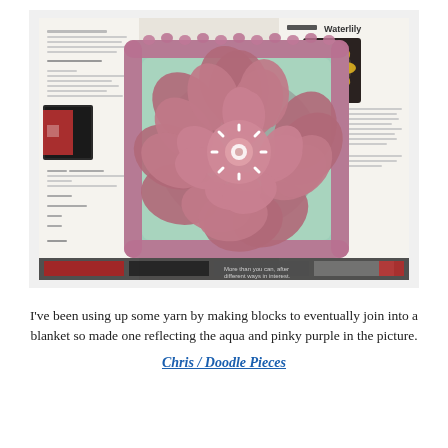[Figure (photo): A photograph of a crocheted granny square with a large dimensional flower in the center. The square uses aqua/mint green yarn with a pinky-purple border. The central flower is crocheted in pinky-purple/mauve yarn with a white starburst center. The square is placed on top of an open crochet book showing a 'Waterlily' pattern page.]
I've been using up some yarn by making blocks to eventually join into a blanket so made one reflecting the aqua and pinky purple in the picture.
Chris / Doodle Pieces